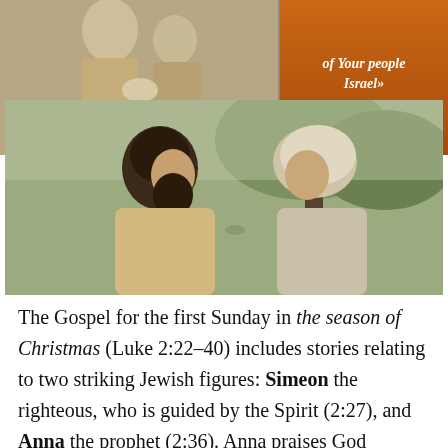[Figure (photo): Top-left photo showing two biblical figures, one appearing to hold a baby, in robes against a light background]
[Figure (photo): Top-right orange/amber panel with italic white text reading 'of Your people Israel' and reference Luke 1:29-32]
[Figure (photo): Large center photo of two people in biblical costume facing each other outdoors near trees — a bearded man and a woman in head covering]
The Gospel for the first Sunday in the season of Christmas (Luke 2:22–40) includes stories relating to two striking Jewish figures: Simeon the righteous, who is guided by the Spirit (2:27), and Anna the prophet (2:36). Anna praises God because of what she sees happening in the birth of the child, Jesus, while Simeon speaks of salvation for all people now being offered by God through this child, ...